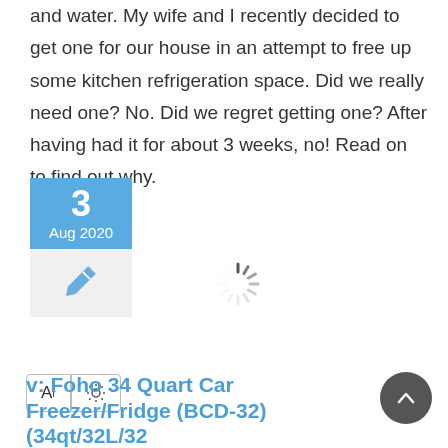and water. My wife and I recently decided to get one for our house in an attempt to free up some kitchen refrigeration space. Did we really need one? No. Did we regret getting one? After having had it for about 3 weeks, no! Read on to find out why.
[Figure (other): Date card with blue header showing '3' and 'Aug 2020', and grey lower section with a pen/edit icon]
[Figure (other): Loading spinner icon (circular radiating lines)]
[Figure (other): Two UI control buttons with 'A' text size icon and a settings/brightness icon]
[Figure (other): Scroll-to-top circular dark button with upward chevron arrow]
v: Foho 34 Quart Car Freezer/Fridge (BCD-32) (34qt/32L/32...